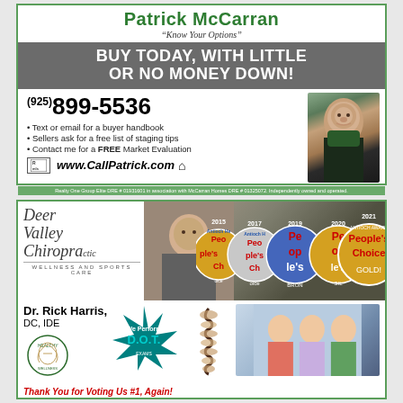Patrick McCarran
"Know Your Options"
BUY TODAY, WITH LITTLE OR NO MONEY DOWN!
(925) 899-5536
Text or email for a buyer handbook
Sellers ask for a free list of staging tips
Contact me for a FREE Market Evaluation
www.CallPatrick.com
Realty One Group Elite DRE # 01931601 in association with McCarran Homes DRE # 01325072. Independently owned and operated.
[Figure (photo): Deer Valley Chiropractic logo and staff photo with People's Choice awards 2015-2021]
Dr. Rick Harris, DC, IDE
Thank You for Voting Us #1, Again!
We Perform D.O.T.